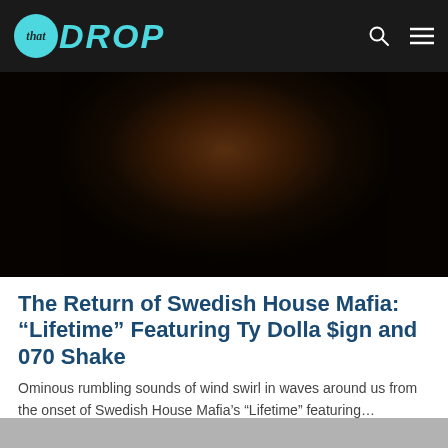that DROP
[Figure (photo): Dark, moody thumbnail image with warm orange-brown glow in upper center against a black background, used as article cover image for Swedish House Mafia 'Lifetime' article.]
The Return of Swedish House Mafia: “Lifetime” Featuring Ty Dolla $ign and 070 Shake
Ominous rumbling sounds of wind swirl in waves around us from the onset of Swedish House Mafia’s “Lifetime” featuring...
[Figure (photo): Partially visible grey/silver article thumbnail image at the bottom edge of the page.]